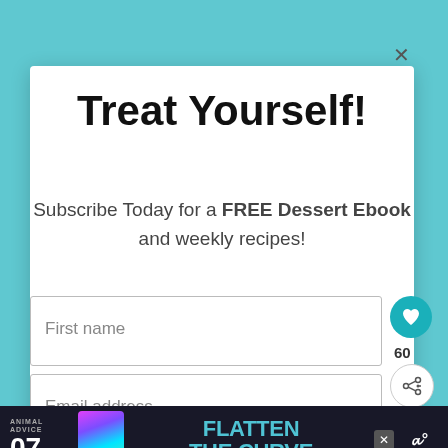[Figure (screenshot): Teal/cyan background visible at top of page behind modal dialog]
Treat Yourself!
Subscribe Today for a FREE Dessert Ebook and weekly recipes!
[Figure (screenshot): First name input field with placeholder text 'First name']
[Figure (screenshot): Email address input field with placeholder text 'Email address']
[Figure (screenshot): Black Subscribe button]
[Figure (screenshot): Teal circular heart/favorite button with count 60 and share button]
[Figure (screenshot): WHAT'S NEXT panel showing Southern Peach Cobbl... with food image]
[Figure (screenshot): Bottom advertisement bar: ANIMAL ADVICE 07 FLATTEN THE CURVE @rohandaho with close button and weatherman logo]